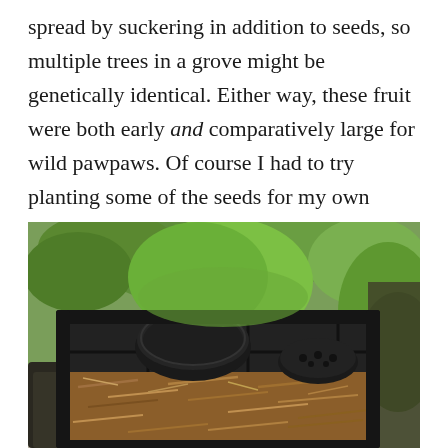spread by suckering in addition to seeds, so multiple trees in a grove might be genetically identical. Either way, these fruit were both early and comparatively large for wild pawpaws. Of course I had to try planting some of the seeds for my own future grove.
[Figure (photo): A black plastic nursery tray filled with brown wood chip mulch, containing a round black nursery pot with holes. Green foliage and plants visible in the background, with gravel visible at the lower left.]